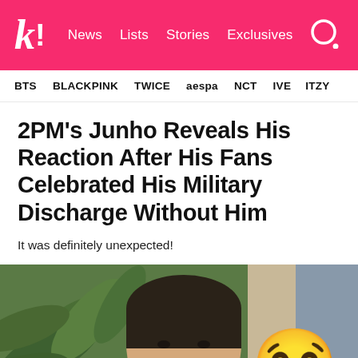k! News Lists Stories Exclusives
BTS BLACKPINK TWICE aespa NCT IVE ITZY
2PM's Junho Reveals His Reaction After His Fans Celebrated His Military Discharge Without Him
It was definitely unexpected!
[Figure (photo): Photo of 2PM's Junho smiling in front of green tropical plants, with a laughing crying emoji overlaid on the right side]